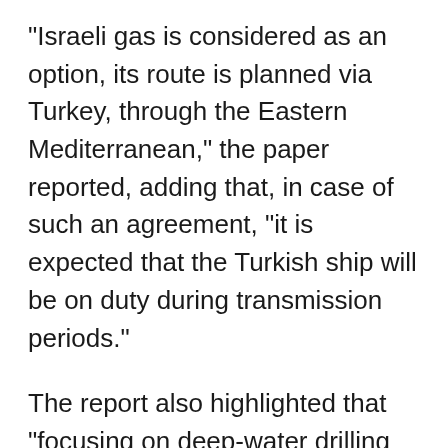"Israeli gas is considered as an option, its route is planned via Turkey, through the Eastern Mediterranean," the paper reported, adding that, in case of such an agreement, "it is expected that the Turkish ship will be on duty during transmission periods."
The report also highlighted that "focusing on deep-water drilling for the extraction of oil and natural gas from the seas, Turkey has included a fourth drilling vessel in its fleet."
The new drilling ship, which left South Korea on March 7, is expected to arrive in